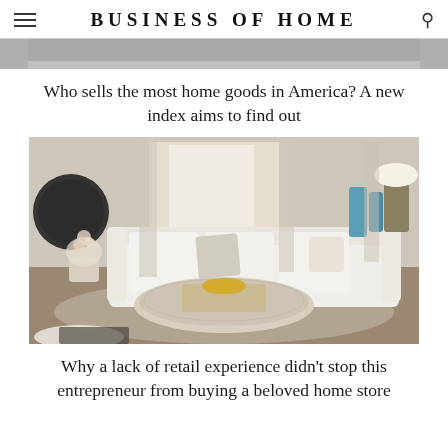BUSINESS OF HOME
[Figure (photo): Top portion of an interior/home goods image, cropped to show only the upper strip]
Who sells the most home goods in America? A new index aims to find out
[Figure (photo): Interior living room photo showing a white sectional sofa with decorative pillows, a round patterned ottoman with a tray and gold bowl as a coffee table, blue decorative vases and a lamp in the background, floral arrangement in a cream vase, and a round mirror on the left]
Why a lack of retail experience didn't stop this entrepreneur from buying a beloved home store